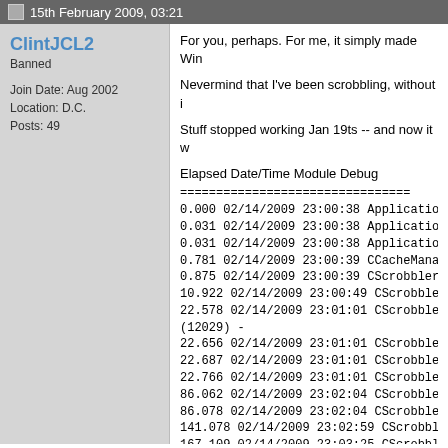15th February 2009, 03:21
ClintJCL2
Banned

Join Date: Aug 2002
Location: D.C.
Posts: 49
For you, perhaps. For me, it simply made Win
Nevermind that I've been scrobbling, without i
Stuff stopped working Jan 19ts -- and now it w
Elapsed Date/Time Module Debug
================================
0.000 02/14/2009 23:00:38 Application Inform
0.031 02/14/2009 23:00:38 Application Inform
0.031 02/14/2009 23:00:38 Application Inform
0.781 02/14/2009 23:00:39 CCacheManager::
0.875 02/14/2009 23:00:39 CScrobbler::StartS
10.922 02/14/2009 23:00:49 CScrobbler::OnT
22.578 02/14/2009 23:01:01 CScrobbler::GetU
(12029) -
22.656 02/14/2009 23:01:01 CScrobbler::Thre
22.687 02/14/2009 23:01:01 CScrobbler::Pars
22.766 02/14/2009 23:01:01 CScrobbler::Thre
86.062 02/14/2009 23:02:04 CScrobbler::Sub
86.078 02/14/2009 23:02:04 CScrobbler::Sub
141.078 02/14/2009 23:02:59 CScrobbler::On
167.109 02/14/2009 23:03:25 CScrobbler::Ge
established (12029) -
167.234 02/14/2009 23:03:26 CScrobbler::Thr
167.578 02/14/2009 23:03:26 CScrobbler::Par
167.687 02/14/2009 23:03:26 CScrobbler::Thr
266.484 02/14/2009 23:05:05 CScrobbler::Su
266.516 02/14/2009 23:05:05 CScrobbler::Su